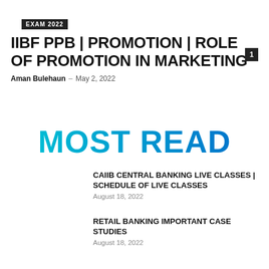EXAM 2022
IIBF PPB | PROMOTION | ROLE OF PROMOTION IN MARKETING
Aman Bulehaun – May 2, 2022
MOST READ
CAIIB CENTRAL BANKING LIVE CLASSES | SCHEDULE OF LIVE CLASSES
August 18, 2022
RETAIL BANKING IMPORTANT CASE STUDIES
August 18, 2022